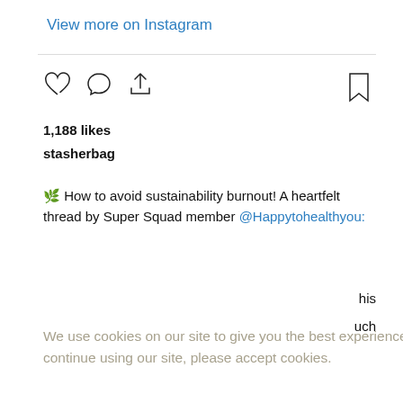View more on Instagram
1,188 likes
stasherbag
🌿 How to avoid sustainability burnout! A heartfelt thread by Super Squad member @Happytohealthyou:
We use cookies on our site to give you the best experience. To continue using our site, please accept cookies.
Learn More
Accept
encourage you to put your money to items that will last long, be